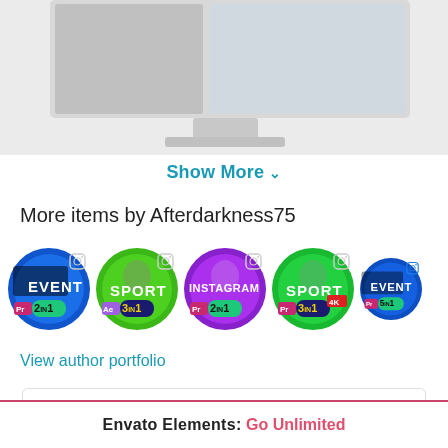[Figure (screenshot): Top portion of a computer monitor/screen mockup with gray gradient background, partially cropped]
Show More ▾
More items by Afterdarkness75
[Figure (illustration): Row of 5 circular thumbnail images representing video template products: EVENT 2IN1 (Pr, blue), SPORT 3IN1 (Ae, green), INSTAGRAM 2IN1 (Pr, purple), SPORT 3IN1 4K (Pr, green), EVENT 5IN1 (Pr, blue). Each has an Instagram icon in the top-right corner.]
View author portfolio
Regular License  ▾
$21
Envato Elements:  Go Unlimited